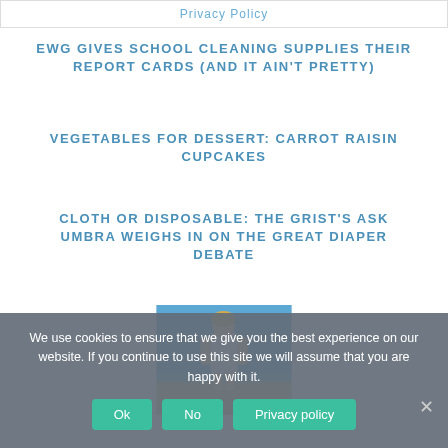Privacy Policy
EWG GIVES SCHOOL CLEANING SUPPLIES THEIR REPORT CARDS (AND IT AIN'T PRETTY)
VEGETABLES FOR DESSERT: CARROT RAISIN CUPCAKES
CLOTH OR DISPOSABLE: THE GRIST'S ASK UMBRA WEIGHS IN ON THE GREAT DIAPER DEBATE
[Figure (photo): Woman in white swimsuit standing on a beach with blue sky background]
We use cookies to ensure that we give you the best experience on our website. If you continue to use this site we will assume that you are happy with it.